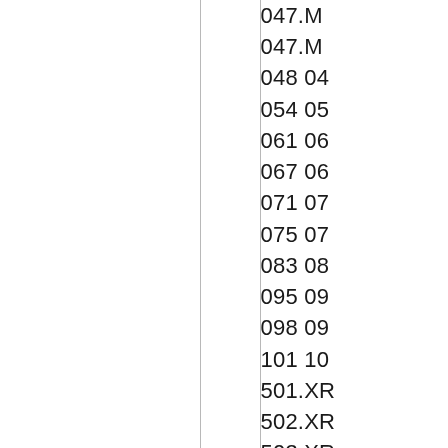|  |  | Codes |
| --- | --- | --- |
|  |  | 047.M... |
|  |  | 047.M... |
|  |  | 048 04... |
|  |  | 054 05... |
|  |  | 061 06... |
|  |  | 067 06... |
|  |  | 071 07... |
|  |  | 075 07... |
|  |  | 083 08... |
|  |  | 095 09... |
|  |  | 098 09... |
|  |  | 101 10... |
|  |  | 501.XR... |
|  |  | 502.XR... |
|  |  | 503.XR... |
|  |  | 504.XR... |
|  |  | 505.XR... |
|  |  | 506.XR... |
|  |  | 507.XR... |